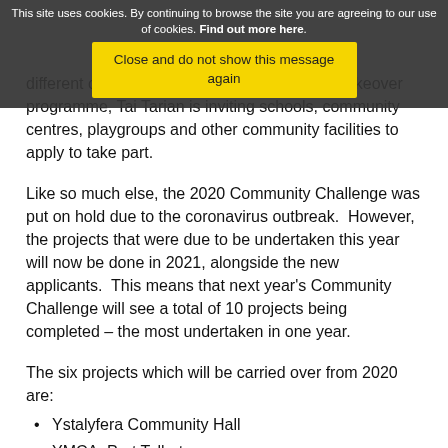This site uses cookies. By continuing to browse the site you are agreeing to our use of cookies. Find out more here.
Close and do not show this message again
With plans to help a number of different community projects benefit from a makeover programme, Tai Tarian is inviting schools, community centres, playgroups and other community facilities to apply to take part.
Like so much else, the 2020 Community Challenge was put on hold due to the coronavirus outbreak. However, the projects that were due to be undertaken this year will now be done in 2021, alongside the new applicants. This means that next year's Community Challenge will see a total of 10 projects being completed – the most undertaken in one year.
The six projects which will be carried over from 2020 are:
Ystalyfera Community Hall
YMCA, Port Talbot
Brynhyfryd House, Briton Ferry
Coburn Street, Port...